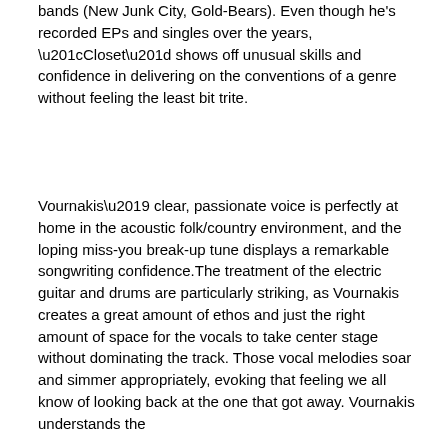from his other bands (New Junk City, Gold-Bears). Even though he's recorded EPs and singles over the years, “Closet” shows off unusual skills and confidence in delivering on the conventions of a genre without feeling the least bit trite.
Vournakis’ clear, passionate voice is perfectly at home in the acoustic folk/country environment, and the loping miss-you break-up tune displays a remarkable songwriting confidence.The treatment of the electric guitar and drums are particularly striking, as Vournakis creates a great amount of ethos and just the right amount of space for the vocals to take center stage without dominating the track. Those vocal melodies soar and simmer appropriately, evoking that feeling we all know of looking back at the one that got away. Vournakis understands the something or other that the song “Closet”